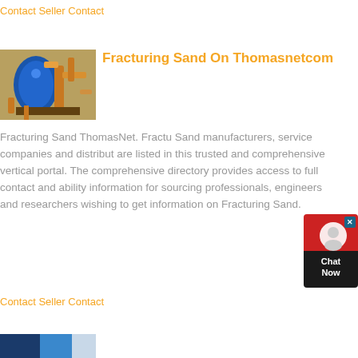Contact Seller Contact
[Figure (photo): Industrial machinery with pipes and blue cylindrical vessel]
Fracturing Sand On Thomasnetcom
Fracturing Sand ThomasNet. Fracturing Sand manufacturers, service companies and distributors are listed in this trusted and comprehensive vertical portal. The comprehensive directory provides access to full contact and ability information for sourcing professionals, engineers and researchers wishing to get information on Fracturing Sand.
Contact Seller Contact
[Figure (photo): Partial view of industrial equipment at bottom of page]